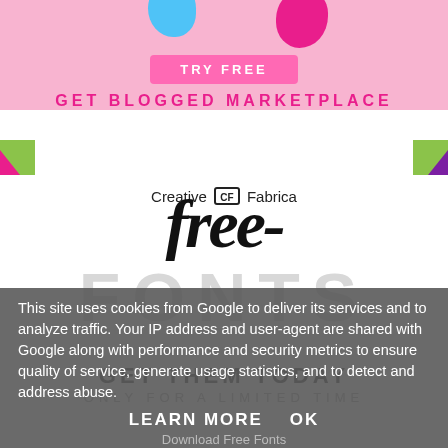[Figure (infographic): Top pink banner with TRY FREE button and GET BLOGGED MARKETPLACE text, with blue and pink blobs]
[Figure (logo): Creative Fabrica logo with decorative colored corner elements (green and pink/magenta)]
free-
FONTS
This site uses cookies from Google to deliver its services and to analyze traffic. Your IP address and user-agent are shared with Google along with performance and security metrics to ensure quality of service, generate usage statistics, and to detect and address abuse.
GET THEM TODAY
ONLY FOR A LIMITED TIME
LEARN MORE    OK
Download Free Fonts